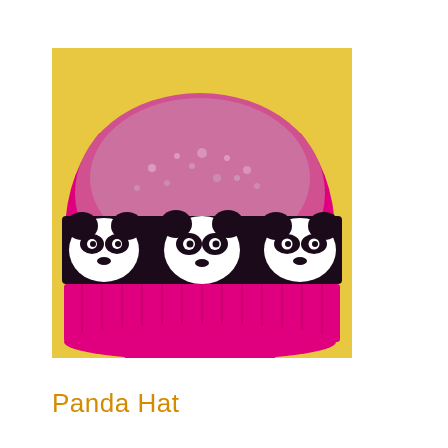[Figure (photo): A pink/magenta knitted winter beanie hat with a large hot-pink pompom on top, displayed on a yellow background. The hat features a band of three white panda face designs outlined in black, set against a dark/black band across the middle. The rest of the hat blends pink and light gray speckled yarn near the crown.]
Panda Hat